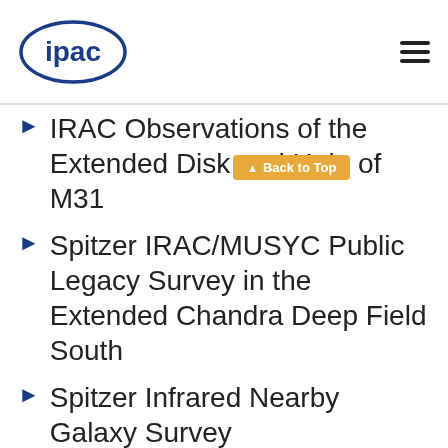ipac
IRAC Observations of the Extended Disk and Halo of M31
Spitzer IRAC/MUSYC Public Legacy Survey in the Extended Chandra Deep Field South
Spitzer Infrared Nearby Galaxy Survey
Spitzer Survey of Stellar Structure in Galaxies
Spitzer Reionization Lensing